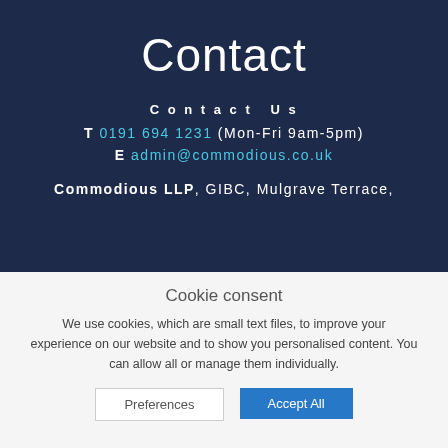Contact
Contact Us
T 0191 694 1231 (Mon-Fri 9am-5pm)
E admin@commodious.co.uk
Commodious LLP, GIBC, Mulgrave Terrace,
Cookie consent
We use cookies, which are small text files, to improve your experience on our website and to show you personalised content. You can allow all or manage them individually.
Preferences
Accept All